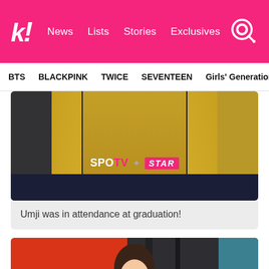k! News Lists Stories Exclusives
BTS BLACKPINK TWICE SEVENTEEN Girls' Generation
[Figure (photo): Close-up photo of a person wearing a mustard/yellow jacket with dark navy trim and buttons, dark pants. SPOTV STAR watermark visible in center-bottom area.]
Umji was in attendance at graduation!
[Figure (photo): Photo of a young woman with brown hair and bangs, standing in front of a red wall/background with dark structural elements visible to the right.]